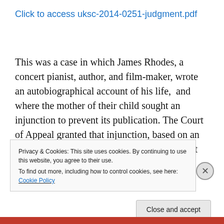Click to access uksc-2014-0251-judgment.pdf
This was a case in which James Rhodes, a concert pianist, author, and film-maker, wrote an autobiographical account of his life,  and where the mother of their child sought an injunction to prevent its publication. The Court of Appeal granted that injunction, based on an 1897 case called Wilkinson v  Downton. That case established a cause of action which was “intentionally causing physical
Privacy & Cookies: This site uses cookies. By continuing to use this website, you agree to their use.
To find out more, including how to control cookies, see here: Cookie Policy